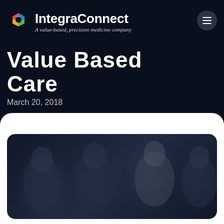IntegraConnect — A value-based, precision medicine company
Value Based Care
March 20, 2018
[Figure (photo): Group of medical professionals in a meeting, darkly lit, including a doctor with a stethoscope]